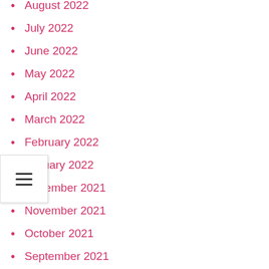August 2022
July 2022
June 2022
May 2022
April 2022
March 2022
February 2022
January 2022
December 2021
November 2021
October 2021
September 2021
August 2021
July 2021
June 2021
May 2021
April 2021
March 2021
January 2021